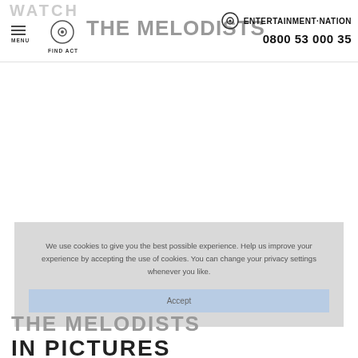WATCH THE MELODISTS | MENU | FIND ACT | ENTERTAINMENT·NATION | 0800 53 000 35
We use cookies to give you the best possible experience. Help us improve your experience by accepting the use of cookies. You can change your privacy settings whenever you like.
Accept
THE MELODISTS
IN PICTURES